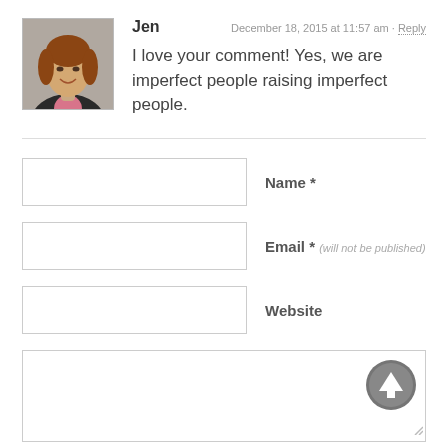[Figure (photo): Profile photo of a woman with brown/reddish hair, wearing a pink shirt and dark jacket, smiling.]
Jen
December 18, 2015 at 11:57 am · Reply
I love your comment! Yes, we are imperfect people raising imperfect people.
Name *
Email * (will not be published)
Website